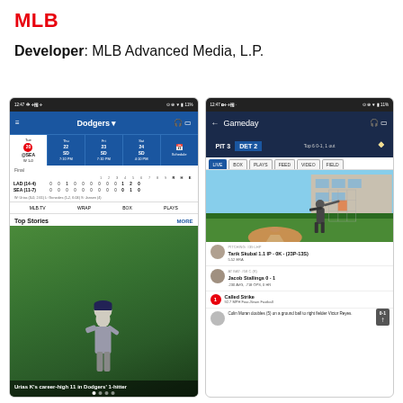MLB
Developer: MLB Advanced Media, L.P.
[Figure (screenshot): MLB app screenshot showing Dodgers schedule, scorecard (LAD 14-4 vs SEA 11-7, W 1-0), Top Stories section with Urias career-high 11 K's headline]
[Figure (screenshot): MLB app screenshot showing Gameday view: PIT 3 vs DET 2, Top 6 0-1 1 out, with pitcher view, LIVE/BOX/PLAYS/FEED/VIDEO/FIELD tabs, pitching info for Tarik Skubal and Jacob Stallings batting, Called Strike event]